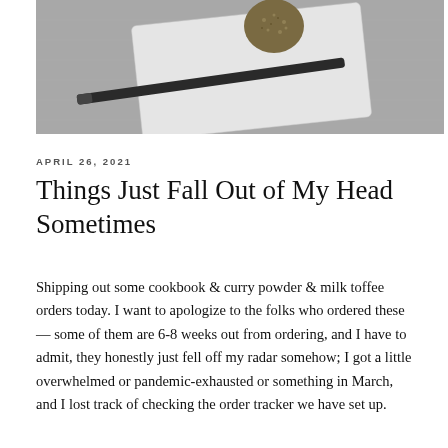[Figure (photo): Black and white photo of a food item (ball-shaped, coated in seeds or crumble) on a white plate with a dark knife, on a metallic surface.]
APRIL 26, 2021
Things Just Fall Out of My Head Sometimes
Shipping out some cookbook & curry powder & milk toffee orders today. I want to apologize to the folks who ordered these — some of them are 6-8 weeks out from ordering, and I have to admit, they honestly just fell off my radar somehow; I got a little overwhelmed or pandemic-exhausted or something in March, and I lost track of checking the order tracker we have set up.